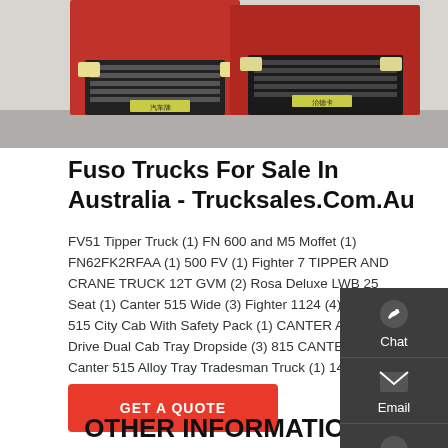[Figure (photo): Two trucks (front grills facing viewer) parked on a concrete surface, partially cropped at top]
Fuso Trucks For Sale In Australia - Trucksales.Com.Au
FV51 Tipper Truck (1) FN 600 and M5 Moffet (1) FN62FK2RFAA (1) 500 FV (1) Fighter 7 TIPPER AND CRANE TRUCK 12T GVM (2) Rosa Deluxe LWB 25 Seat (1) Canter 515 Wide (3) Fighter 1124 (4) Canter 515 City Cab With Safety Pack (1) CANTER All Wheel Drive Dual Cab Tray Dropside (3) 815 CANTER (2) Canter 515 Alloy Tray Tradesman Truck (1) 1424 (1)
GET A QUOTE
OTHER INFORMATION